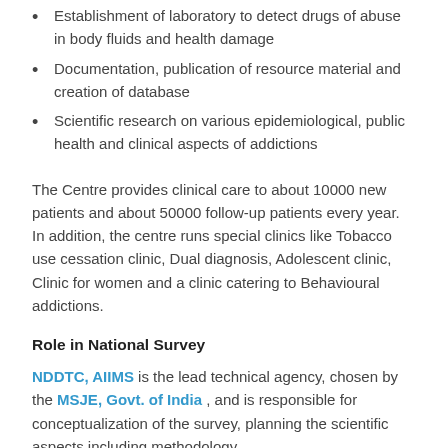Establishment of laboratory to detect drugs of abuse in body fluids and health damage
Documentation, publication of resource material and creation of database
Scientific research on various epidemiological, public health and clinical aspects of addictions
The Centre provides clinical care to about 10000 new patients and about 50000 follow-up patients every year. In addition, the centre runs special clinics like Tobacco use cessation clinic, Dual diagnosis, Adolescent clinic, Clinic for women and a clinic catering to Behavioural addictions.
Role in National Survey
NDDTC, AIIMS is the lead technical agency, chosen by the MSJE, Govt. of India , and is responsible for conceptualization of the survey, planning the scientific aspects including methodology